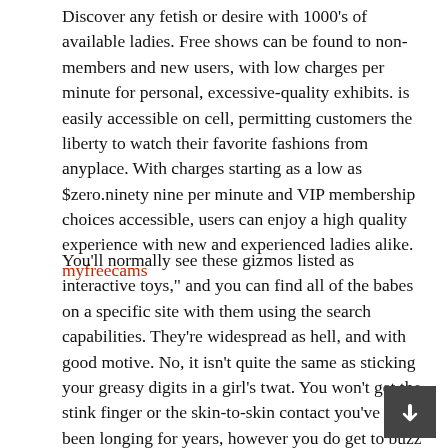Discover any fetish or desire with 1000's of available ladies. Free shows can be found to non-members and new users, with low charges per minute for personal, excessive-quality exhibits. is easily accessible on cell, permitting customers the liberty to watch their favorite fashions from anyplace. With charges starting as a low as $zero.ninety nine per minute and VIP membership choices accessible, users can enjoy a high quality experience with new and experienced ladies alike. myfreecams
You'll normally see these gizmos listed as interactive toys," and you can find all of the babes on a specific site with them using the search capabilities. They're widespread as hell, and with good motive. No, it isn't quite the same as sticking your greasy digits in a girl's twat. You won't get the stink finger or the skin-to-skin contact you've got been longing for years, however you do get to buzz a woman's twat for a number of tokens. Stronger vibrations cost more, however they do make the women scream slightly louder. Or lots.